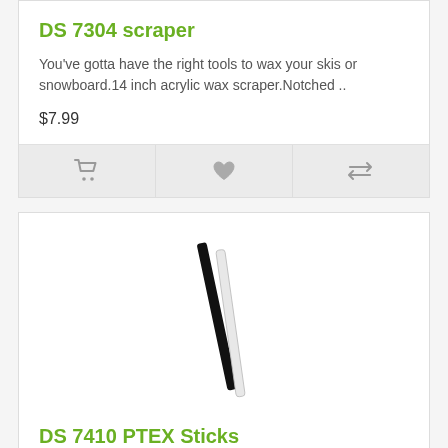DS 7304 scraper
You've gotta have the right tools to wax your skis or snowboard.14 inch acrylic wax scraper.Notched ..
$7.99
[Figure (infographic): Action bar with three icon buttons: shopping cart, heart/wishlist, and compare arrows]
[Figure (photo): Two diagonal sticks (one black, one white/clear) — PTEX repair sticks for ski base repair]
DS 7410 PTEX Sticks
A must have for proper base repair.Includes 2-8 inch sticksUse to fill in gouges on your ski or snow..